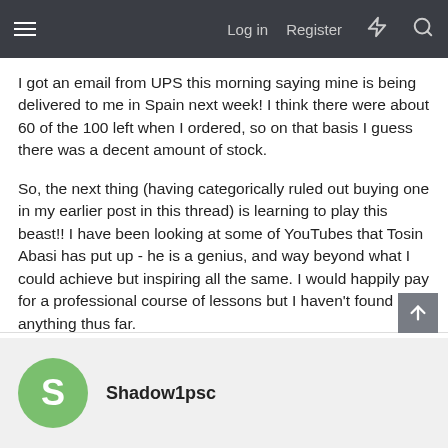Log in  Register
I got an email from UPS this morning saying mine is being delivered to me in Spain next week! I think there were about 60 of the 100 left when I ordered, so on that basis I guess there was a decent amount of stock.
So, the next thing (having categorically ruled out buying one in my earlier post in this thread) is learning to play this beast!! I have been looking at some of YouTubes that Tosin Abasi has put up - he is a genius, and way beyond what I could achieve but inspiring all the same. I would happily pay for a professional course of lessons but I haven't found anything thus far.
Aside from that I am super excited!
Shadow1psc